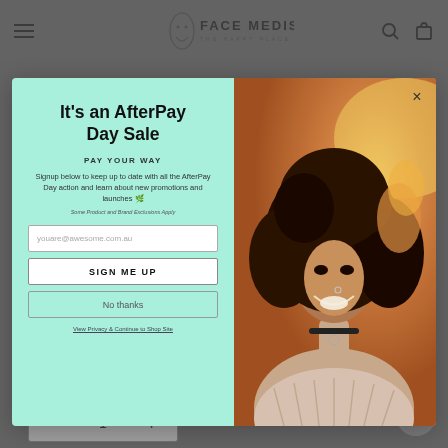FACE MEDISKIN — THE HAPPY PLACE FOR YOUR FACE
[Figure (screenshot): AfterPay Day Sale popup modal with mint green left panel and photo of smiling woman on right. Left panel contains title, subtitle, body text, email input, sign up button, no thanks button, and link. Right panel shows a woman with curly hair laughing in warm sunlight.]
It's an AfterPay Day Sale
PAY YOUR WAY
Signup below to keep up to date with all the AfterPay Day action and learn about new promotions and launches 🌿
Some Product and Brand Exclusions Apply
youare@awesome.com.au
SIGN ME UP
No thanks
View Privacy & Continue to Shop Site